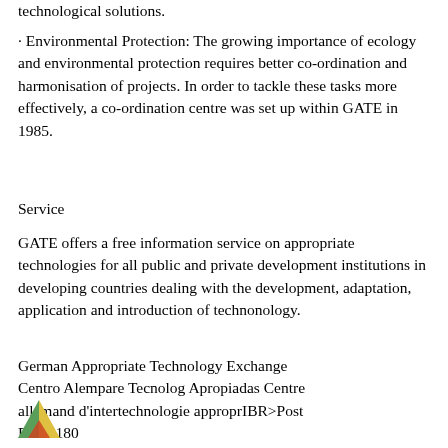technological solutions.
· Environmental Protection: The growing importance of ecology and environmental protection requires better co-ordination and harmonisation of projects. In order to tackle these tasks more effectively, a co-ordination centre was set up within GATE in 1985.
Service
GATE offers a free information service on appropriate technologies for all public and private development institutions in developing countries dealing with the development, adaptation, application and introduction of technonology.
German Appropriate Technology Exchange
Centro Alempare Tecnolog Apropiadas Centre allemand d'intertechnologie approprIBR>Post Box 5180
D-65726 Eschborn
Federal Republic of Germany
[Figure (logo): GATE logo - colorful triangular/envelope shape in green, yellow, and red/orange tones]